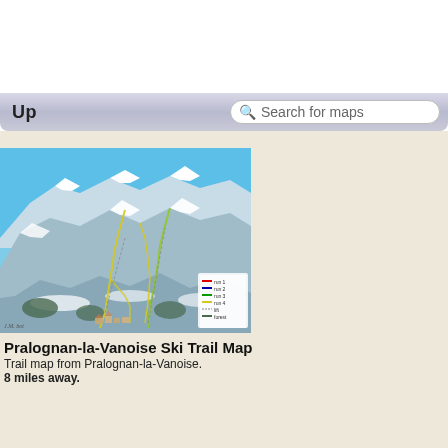Up  Search for maps
[Figure (map): Pralognan-la-Vanoise ski trail map showing snowy mountain peaks with ski runs marked in yellow/green lines, lift infrastructure, and a legend in the lower right corner. Blue sky above snow-covered mountains.]
Pralognan-la-Vanoise Ski Trail Map
Trail map from Pralognan-la-Vanoise.
8 miles away.